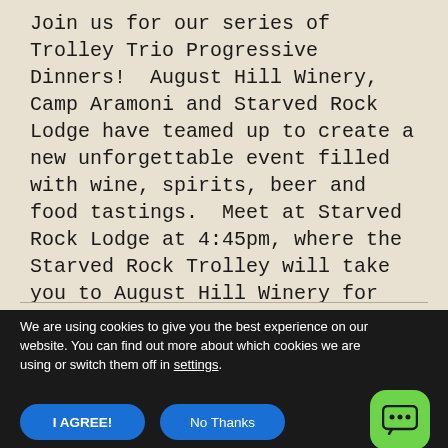Join us for our series of Trolley Trio Progressive Dinners!  August Hill Winery, Camp Aramoni and Starved Rock Lodge have teamed up to create a new unforgettable event filled with wine, spirits, beer and food tastings.  Meet at Starved Rock Lodge at 4:45pm, where the Starved Rock Trolley will take you to August Hill Winery for cocktails and appetizers.  Next, the trolley will head to Camp Aramoni for dinner and drinks.  Lastly, the trolley will take you back to Starved...
We are using cookies to give you the best experience on our website. You can find out more about which cookies we are using or switch them off in settings.